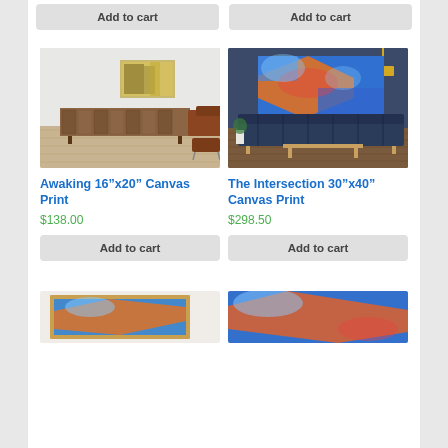Add to cart (top left)
Add to cart (top right)
[Figure (photo): Interior room with wooden sideboard and abstract painting on white wall, warm wood floor, orange chair]
[Figure (photo): Blue room with large colorful abstract canvas on dark blue wall above tufted navy blue sofa, herringbone floor]
Awaking 16”x20” Canvas Print
$138.00
The Intersection 30”x40” Canvas Print
$298.50
Add to cart
Add to cart
[Figure (photo): Framed colorful abstract print with blue and orange tones in a gold frame on white wall]
[Figure (photo): Close-up of colorful abstract canvas with blue and orange paint texture]